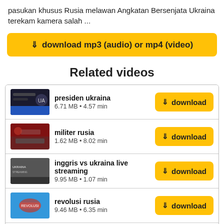pasukan khusus Rusia melawan Angkatan Bersenjata Ukraina terekam kamera salah ...
[Figure (screenshot): Yellow download button with download icon and text 'download mp3 (audio) or mp4 (video)']
Related videos
presiden ukraina — 6.71 MB • 4.57 min
militer rusia — 1.62 MB • 8.02 min
inggris vs ukraina live streaming — 9.95 MB • 1.07 min
revolusi rusia — 9.46 MB • 6.35 min
presiden ukraina menyerah — 1.22 MB • 3.12 min